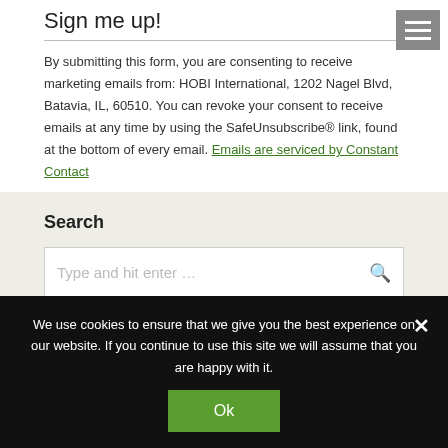Sign me up!
By submitting this form, you are consenting to receive marketing emails from: HOBI International, 1202 Nagel Blvd, Batavia, IL, 60510. You can revoke your consent to receive emails at any time by using the SafeUnsubscribe® link, found at the bottom of every email. Emails are serviced by Constant Contact
Search
Type and hit enter …
We use cookies to ensure that we give you the best experience on our website. If you continue to use this site we will assume that you are happy with it.
Ok